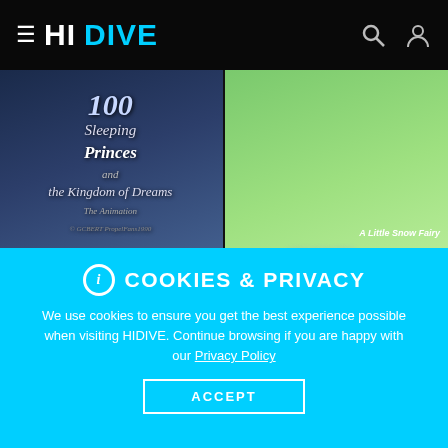HIDIVE navigation bar with hamburger menu, search, and user icons
[Figure (screenshot): Thumbnail for '100 Sleeping Princes & the Kingdom of Dreams' anime]
[Figure (screenshot): Thumbnail for 'A Little Snow Fairy Sugar' anime]
ℹ 100 SLEEPING PRINCES &...
ℹ A LITTLE SNOW FAIRY SUG...
[Figure (screenshot): Thumbnail for 'Action Heroine' anime with play button]
[Figure (screenshot): Thumbnail for 'After the Rain' anime with play button]
COOKIES & PRIVACY

We use cookies to ensure you get the best experience possible when visiting HIDIVE. Continue browsing if you are happy with our Privacy Policy
ACCEPT